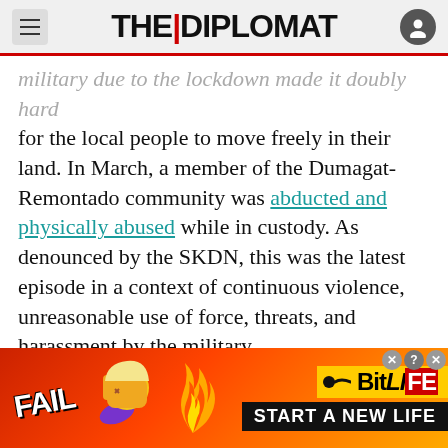THE DIPLOMAT
military due to the lockdown made it doubly hard for the local people to move freely in their land. In March, a member of the Dumagat-Remontado community was abducted and physically abused while in custody. As denounced by the SKDN, this was the latest episode in a context of continuous violence, unreasonable use of force, threats, and harassment by the military.
DIPLOMAT BRIEF
WEEKLY NEWSLETTER
Get briefed on the story of the week, and
[Figure (screenshot): BitLife advertisement banner: 'FAIL' text with cartoon character, flame, sperm icon, BitLife logo, and 'START A NEW LIFE' text on a red/orange background]